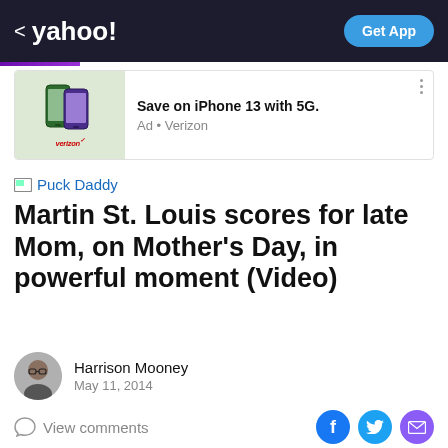< yahoo!  Get App
[Figure (other): Advertisement banner: iPhone 13 image with Verizon branding. Text: 'Save on iPhone 13 with 5G.' with 'Ad • Verizon' subtext.]
Puck Daddy
Martin St. Louis scores for late Mom, on Mother's Day, in powerful moment (Video)
Harrison Mooney
May 11, 2014
View comments